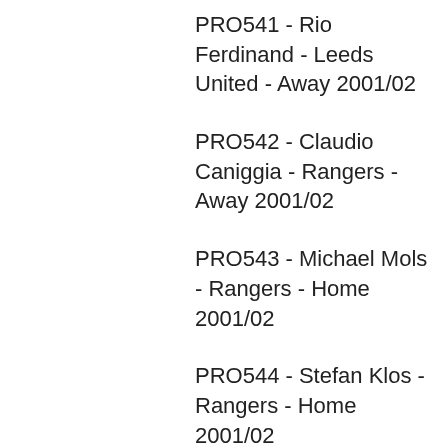PRO541 - Rio Ferdinand - Leeds United - Away 2001/02
PRO542 - Claudio Caniggia - Rangers - Away 2001/02
PRO543 - Michael Mols - Rangers - Home 2001/02
PRO544 - Stefan Klos - Rangers - Home 2001/02
PRO545 - Ruud Van Nistelrooy - Manchester United - Home 2001/02
PRO546 - Juan Sebastian Veron -